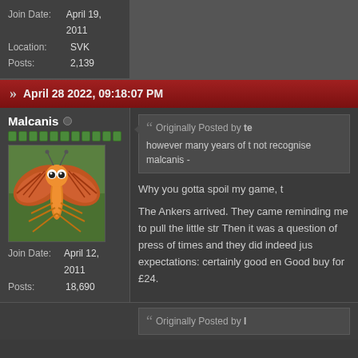Join Date: April 19, 2011
Location: SVK
Posts: 2,139
April 28 2022, 09:18:07 PM
Malcanis
[Figure (photo): Avatar image of a cartoon-faced orange insect/butterfly creature with spread wings on a green background]
Join Date: April 12, 2011
Posts: 18,690
Originally Posted by te
however many years of t not recognise malcanis -
Why you gotta spoil my game, t
The Ankers arrived. They came reminding me to pull the little str Then it was a question of press of times and they did indeed jus expectations: certainly good en Good buy for £24.
Originally Posted by I